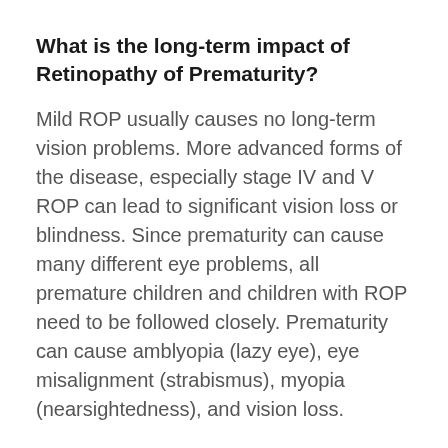What is the long-term impact of Retinopathy of Prematurity?
Mild ROP usually causes no long-term vision problems. More advanced forms of the disease, especially stage IV and V ROP can lead to significant vision loss or blindness. Since prematurity can cause many different eye problems, all premature children and children with ROP need to be followed closely. Prematurity can cause amblyopia (lazy eye), eye misalignment (strabismus), myopia (nearsightedness), and vision loss.